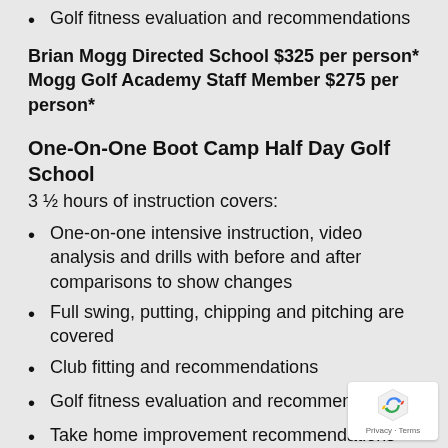Golf fitness evaluation and recommendations
Brian Mogg Directed School $325 per person* Mogg Golf Academy Staff Member $275 per person*
One-On-One Boot Camp Half Day Golf School
3 ½ hours of instruction covers:
One-on-one intensive instruction, video analysis and drills with before and after comparisons to show changes
Full swing, putting, chipping and pitching are covered
Club fitting and recommendations
Golf fitness evaluation and recommendations
Take home improvement recommendations and drills
Brian Mogg Directed School $700 per person ($975 for 2 students/4 hours*)
Mogg Golf Academy Staff Member $550 per